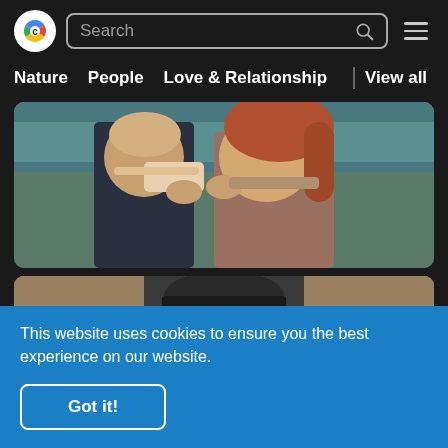Search | Nature | People | Love & Relationship | View all
[Figure (photo): Two people together outdoors near water — a woman with curly red hair and a person in front of her, upper bodies visible]
[Figure (photo): Young man with dark hair wearing a black cap, looking down, outdoors with sandy/rocky background]
This website uses cookies to ensure you the best experience on our website.
Got it!